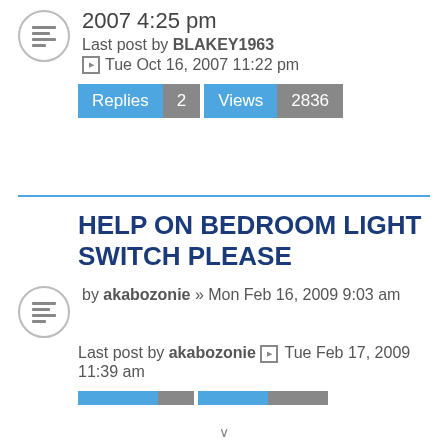2007 4:25 pm
Last post by BLAKEY1963
Tue Oct 16, 2007 11:22 pm
| Replies | 2 | Views | 2836 |
| --- | --- | --- | --- |
HELP ON BEDROOM LIGHT SWITCH PLEASE
by akabozonie » Mon Feb 16, 2009 9:03 am
Last post by akabozonie Tue Feb 17, 2009 11:39 am